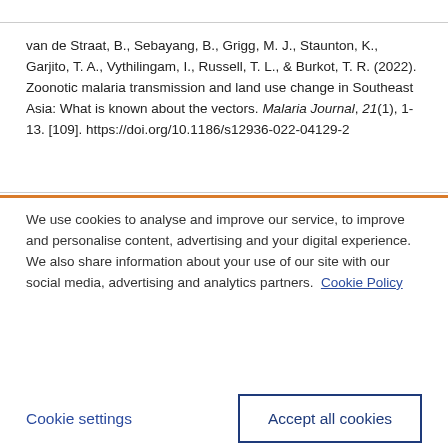van de Straat, B., Sebayang, B., Grigg, M. J., Staunton, K., Garjito, T. A., Vythilingam, I., Russell, T. L., & Burkot, T. R. (2022). Zoonotic malaria transmission and land use change in Southeast Asia: What is known about the vectors. Malaria Journal, 21(1), 1-13. [109]. https://doi.org/10.1186/s12936-022-04129-2
We use cookies to analyse and improve our service, to improve and personalise content, advertising and your digital experience. We also share information about your use of our site with our social media, advertising and analytics partners. Cookie Policy
Cookie settings
Accept all cookies